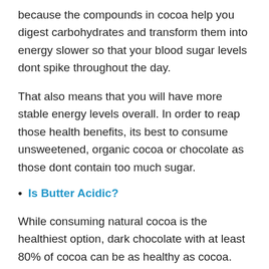because the compounds in cocoa help you digest carbohydrates and transform them into energy slower so that your blood sugar levels dont spike throughout the day.
That also means that you will have more stable energy levels overall. In order to reap those health benefits, its best to consume unsweetened, organic cocoa or chocolate as those dont contain too much sugar.
Is Butter Acidic?
While consuming natural cocoa is the healthiest option, dark chocolate with at least 80% of cocoa can be as healthy as cocoa. Plus, it tastes delicious. To get the health benefits, its important to pick chocolate high in cocoa instead of milky ones and white chocolate.
Is Meat Acidic?